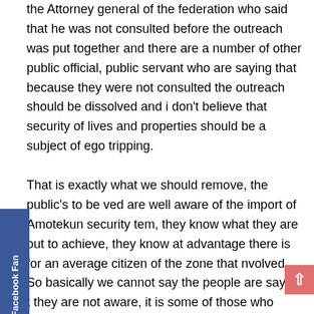the Attorney general of the federation who said that he was not consulted before the outreach was put together and there are a number of other public official, public servant who are saying that because they were not consulted the outreach should be dissolved and i don't believe that security of lives and properties should be a subject of ego tripping.

That is exactly what we should remove, the public's to be ved are well aware of the import of Amotekun security tem, they know what they are out to achieve, they know at advantage there is for an average citizen of the zone that nvolved. So basically we cannot say the people are saying t they are not aware, it is some of those who would not want it to work that are claiming that the public are not aware. The public are even anxious to be part and parcel of the security outreach because they know the implication of it and they know that the time has come for south-western part of the